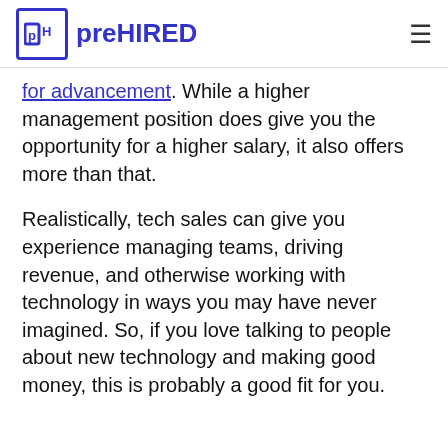preHIRED
for advancement. While a higher management position does give you the opportunity for a higher salary, it also offers more than that.
Realistically, tech sales can give you experience managing teams, driving revenue, and otherwise working with technology in ways you may have never imagined. So, if you love talking to people about new technology and making good money, this is probably a good fit for you.